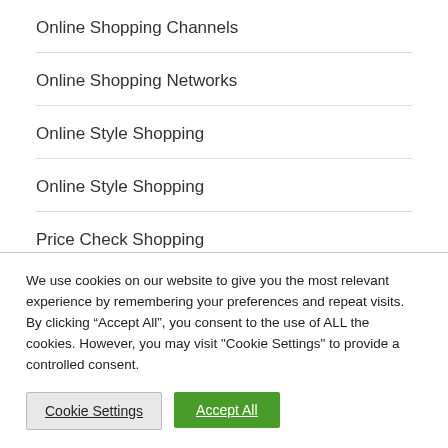Online Shopping Channels
Online Shopping Networks
Online Style Shopping
Online Style Shopping
Price Check Shopping
We use cookies on our website to give you the most relevant experience by remembering your preferences and repeat visits. By clicking “Accept All”, you consent to the use of ALL the cookies. However, you may visit "Cookie Settings" to provide a controlled consent.
Cookie Settings
Accept All